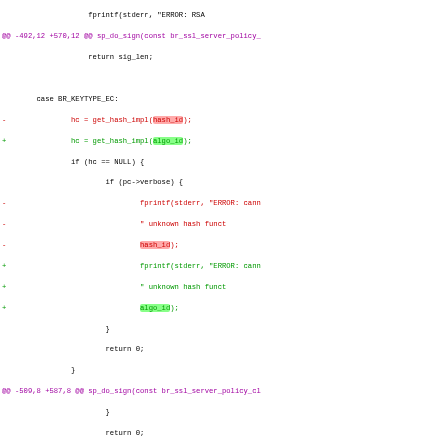[Figure (screenshot): Git diff / code diff view showing changes to a C source file. Purple lines are diff hunk headers, red lines show removed code, green lines show added code, with highlighted spans for changed identifiers (hash_id -> algo_id, br_ecdsa_i31_sign_asn1 -> br_ecdsa_sign_asn1_get_default). The code is related to SSL/TLS server policy functions in BearSSL.]